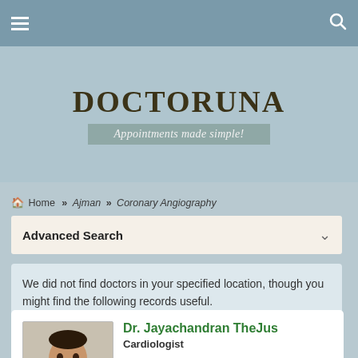[Figure (screenshot): Top navigation bar with hamburger menu icon on left and search icon on right]
[Figure (logo): DoctorUna logo with text 'DOCTORUNA' and ribbon reading 'Appointments made simple!']
Home » Ajman » Coronary Angiography
Advanced Search
We did not find doctors in your specified location, though you might find the following records useful.
Dr. Jayachandran TheJus
Cardiologist
Zulekha Hospital
Al Nasseriya, Sharjah